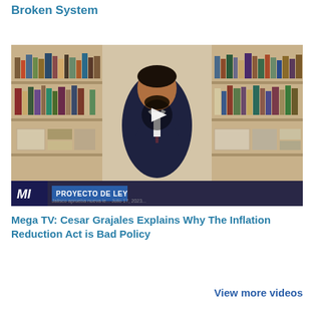Broken System
[Figure (screenshot): Video thumbnail showing a man in a suit standing in front of bookshelves, with a play button overlay. Lower bar shows logo 'MI' and text 'PROYECTO DE LEY'. Subtitle text partially visible at bottom.]
Mega TV: Cesar Grajales Explains Why The Inflation Reduction Act is Bad Policy
View more videos